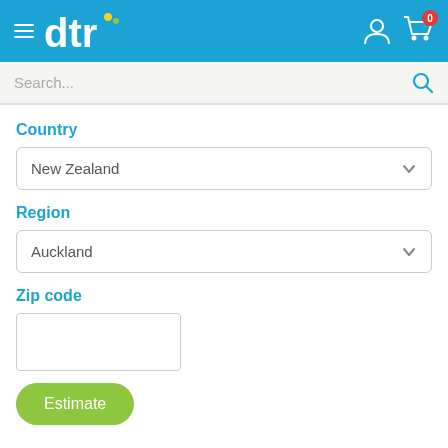dtr navigation header with hamburger menu, logo, user icon, and cart icon
Search...
Country
New Zealand
Region
Auckland
Zip code
Estimate